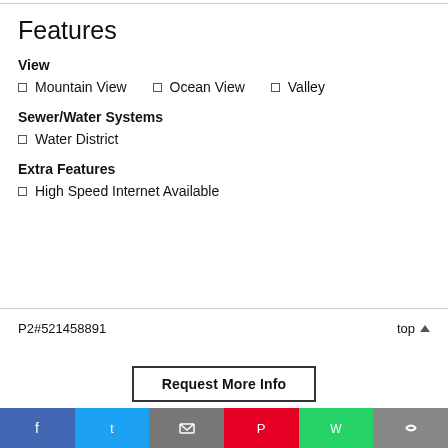Features
View
Mountain View
Ocean View
Valley
Sewer/Water Systems
Water District
Extra Features
High Speed Internet Available
P2#521458891   top ▲
Request More Info